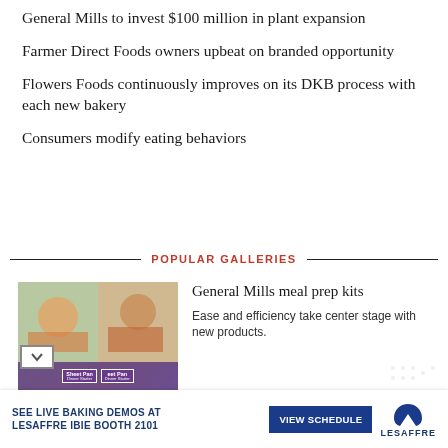General Mills to invest $100 million in plant expansion
Farmer Direct Foods owners upbeat on branded opportunity
Flowers Foods continuously improves on its DKB process with each new bakery
Consumers modify eating behaviors
POPULAR GALLERIES
[Figure (photo): General Mills Sheet Pan meal prep kit boxes displayed on shelf]
General Mills meal prep kits
Ease and efficiency take center stage with new products.
[Figure (other): Advertisement banner: SEE LIVE BAKING DEMOS AT LESAFFRE IBIE BOOTH 2101, VIEW SCHEDULE button, LESAFFRE logo]